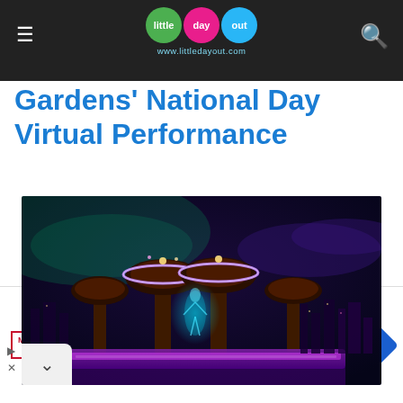little day out — www.littledayout.com
Gardens' National Day Virtual Performance
[Figure (photo): Night-time view of Gardens by the Bay supertrees with spectacular lights, fireworks, and a glowing blue holographic figure in the center, surrounded by purple LED lighting and city skyline in the background]
King Bed For A Queen Price Now
Mattress Firm Potomac Run Plaza